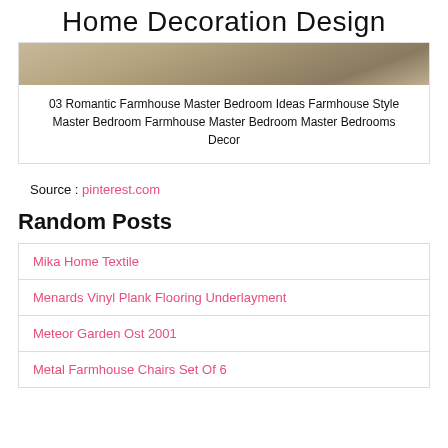Home Decoration Design
[Figure (photo): Bedroom interior photo showing a farmhouse style master bedroom]
03 Romantic Farmhouse Master Bedroom Ideas Farmhouse Style Master Bedroom Farmhouse Master Bedroom Master Bedrooms Decor
Source : pinterest.com
Random Posts
Mika Home Textile
Menards Vinyl Plank Flooring Underlayment
Meteor Garden Ost 2001
Metal Farmhouse Chairs Set Of 6